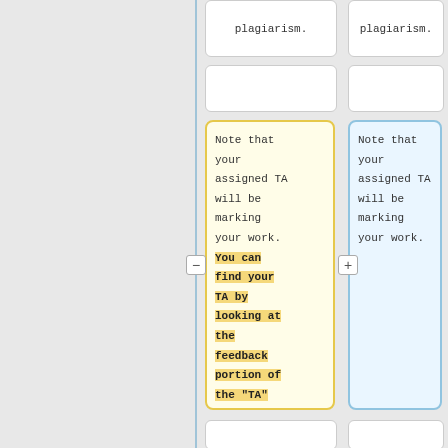plagiarism.
plagiarism.
Note that your assigned TA will be marking your work. You can find your TA by looking at the feedback portion of the "TA" grade item in cuLearn.
Note that your assigned TA will be marking your work.